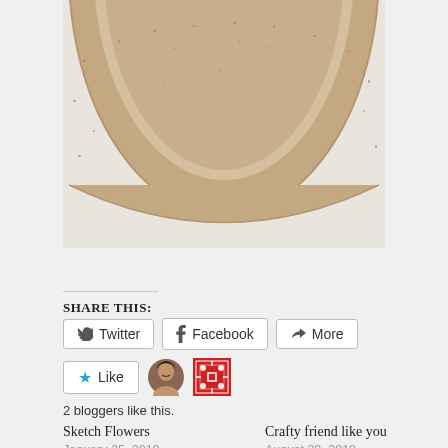[Figure (photo): Close-up photo of a circular cork/jute item (possibly a coaster or trivet) on a light wooden surface, showing the bottom portion of the round object with a textured brown and tan pattern.]
Share this:
Twitter Facebook More
Like
2 bloggers like this.
Sketch Flowers
January 25, 2019
In "Friendship"
Crafty friend like you
August 29, 2018
In "Friendship"
Christmas Galore
December 13, 2018
In "Christmas"